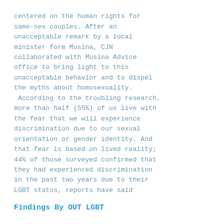centered on the human rights for same-sex couples. After an unacceptable remark by a local minister form Musina, CJN collaborated with Musina Advice office to bring light to this unacceptable behavior and to dispel the myths about homosexuality.
 According to the troubling research, more than half (55%) of us live with the fear that we will experience discrimination due to our sexual orientation or gender identity. And that fear is based on lived reality; 44% of those surveyed confirmed that they had experienced discrimination in the past two years due to their LGBT status, reports have said
Findings By OUT LGBT